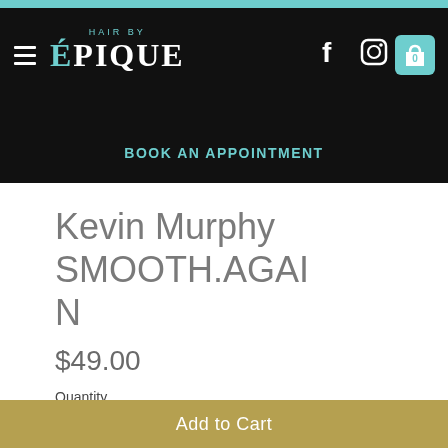[Figure (screenshot): Hair by Épique salon website header with black background, teal logo text, hamburger menu, Facebook and Instagram icons, shopping cart icon, and teal 'BOOK AN APPOINTMENT' link]
Kevin Murphy SMOOTH.AGAIN
$49.00
Quantity
1
Add to Cart